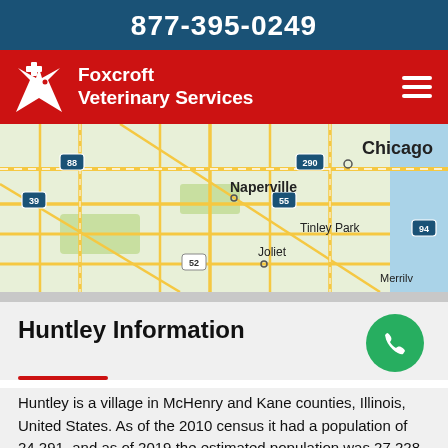877-395-0249
[Figure (logo): Foxcroft Veterinary Services logo with red background, white fox/dog icon with cross, and white text 'Foxcroft Veterinary Services', plus hamburger menu icon on right]
[Figure (map): Google Maps showing Chicago metropolitan area including Chicago, Naperville, Tinley Park, Joliet, Merrillville; highways 88, 290, 39, 55, 52, 94 visible]
Huntley Information
Huntley is a village in McHenry and Kane counties, Illinois, United States. As of the 2010 census it had a population of 24,291, and as of 2019 the estimated population was 27,228. It is a part of the Chicago metropolitan area.